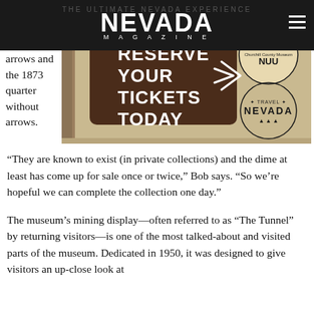NEVADA MAGAZINE
missing are the 1873 dime with arrows and the 1873 quarter without arrows.
[Figure (photo): Photo of a museum or attraction display board showing a brown sign with the text 'RESERVE YOUR TICKETS TODAY' with a compass-like arrow graphic, and logos for 'CCM' and 'Travel Nevada' on a wooden background.]
“They are known to exist (in private collections) and the dime at least has come up for sale once or twice,” Bob says. “So we’re hopeful we can complete the collection one day.”
The museum’s mining display—often referred to as “The Tunnel” by returning visitors—is one of the most talked-about and visited parts of the museum. Dedicated in 1950, it was designed to give visitors an up-close look at